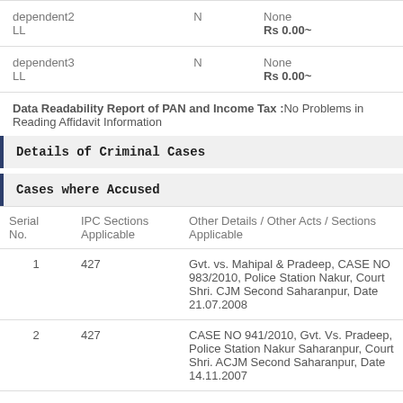|  |  |  |
| --- | --- | --- |
| dependent2 LL | N | None
Rs 0.00~ |
| dependent3 LL | N | None
Rs 0.00~ |
Data Readability Report of PAN and Income Tax :No Problems in Reading Affidavit Information
Details of Criminal Cases
Cases where Accused
| Serial No. | IPC Sections Applicable | Other Details / Other Acts / Sections Applicable |
| --- | --- | --- |
| 1 | 427 | Gvt. vs. Mahipal & Pradeep, CASE NO 983/2010, Police Station Nakur, Court Shri. CJM Second Saharanpur, Date 21.07.2008 |
| 2 | 427 | CASE NO 941/2010, Gvt. Vs. Pradeep, Police Station Nakur Saharanpur, Court Shri. ACJM Second Saharanpur, Date 14.11.2007 |